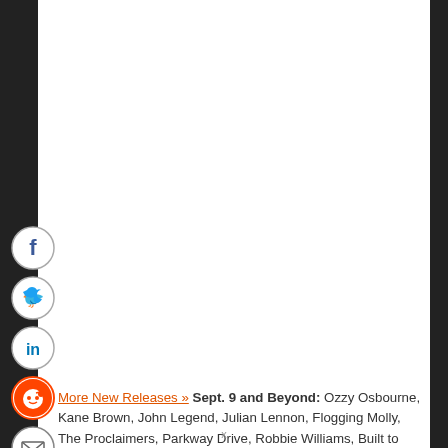[Figure (other): Social media sharing icons (Facebook, Twitter, LinkedIn, Reddit, Email) arranged vertically on the left side of the page]
More New Releases » Sept. 9 and Beyond: Ozzy Osbourne, Kane Brown, John Legend, Julian Lennon, Flogging Molly, The Proclaimers, Parkway Drive, Robbie Williams, Built to Spill, Death Cab for Cutie, Calvin Harris, LeAnn Rimes, BLACKPINK, Rina Sawayama, NCT 127, Ringo Starr, Marcus Mumford, Michelle Branch, Little Big Town, The London Suede, Rhett Miller, 5 Seconds of Summer, Beth Orton, Dr. John, Kelsea Ballerini, Nikki Lane, Denzel Curry, Pixies, Yeah Yeah Yeahs, Herb Alpert, Buddy Guy, Richard Marx, Slipknot, Dropkick Murphys, Lamb of God, Charlie Puth, Ava Max, The Cult, Bush, Queensrÿche, Alvvays, The 1975, Red Hot Chili Peppers, Backstreet Boys, Tove Lo, Brian Eno, Blue October, Alter Bridge, Lightning Seeds, Carly Rae Jepsen, a-ha, Simple Minds, Meghan Trainor, The Manhattan Transfer, Tegan and Sara, Archers of Loaf, Sloan, Babyface, First Aid Kit, Joji, The
x